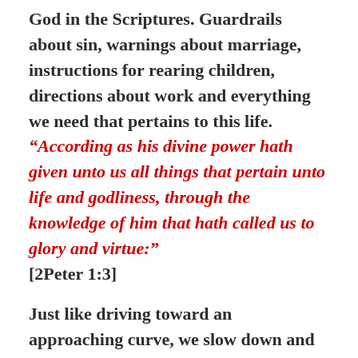God in the Scriptures. Guardrails about sin, warnings about marriage, instructions for rearing children, directions about work and everything we need that pertains to this life.
“According as his divine power hath given unto us all things that pertain unto life and godliness, through the knowledge of him that hath called us to glory and virtue:” [2Peter 1:3]
Just like driving toward an approaching curve, we slow down and watch the